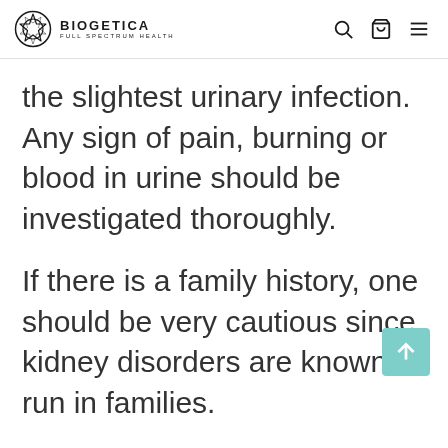BIOGETICA FULL SPECTRUM HEALTH
the slightest urinary infection. Any sign of pain, burning or blood in urine should be investigated thoroughly.
If there is a family history, one should be very cautious since kidney disorders are known to run in families.